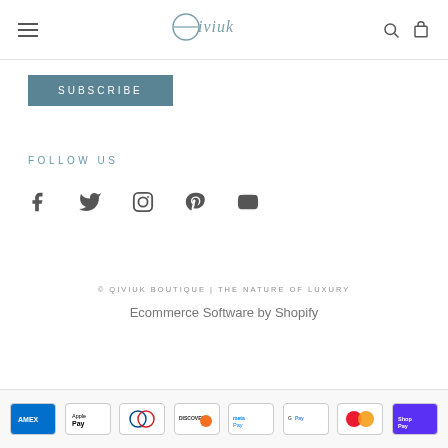QIVIUK (logo) — navigation header with hamburger menu, search, and cart icons
SUBSCRIBE
FOLLOW US
[Figure (infographic): Social media icons: Facebook, Twitter, Instagram, Pinterest, YouTube]
© QIVIUK BOUTIQUE | THE NATURE OF LUXURY
Ecommerce Software by Shopify
[Figure (infographic): Payment method badges: Amex, Apple Pay, Diners Club, Discover, Meta Pay, Google Pay, Mastercard, Shop Pay]